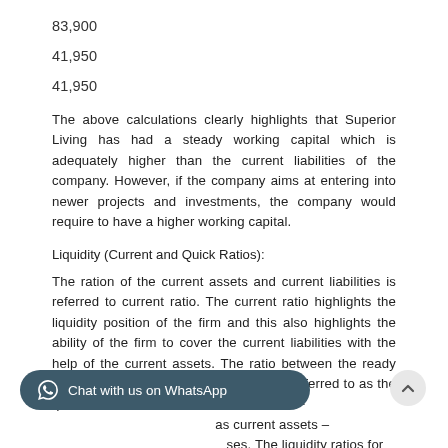83,900
41,950
41,950
The above calculations clearly highlights that Superior Living has had a steady working capital which is adequately higher than the current liabilities of the company. However, if the company aims at entering into newer projects and investments, the company would require to have a higher working capital.
Liquidity (Current and Quick Ratios):
The ration of the current assets and current liabilities is referred to current ratio. The current ratio highlights the liquidity position of the firm and this also highlights the ability of the firm to cover the current liabilities with the help of the current assets. The ratio between the ready cash assets and the current liabilities is referred to as the quick ratio which includes current assets – inventories and prepaid expenses. The liquidity ratios for Superior Living are computed as follows: